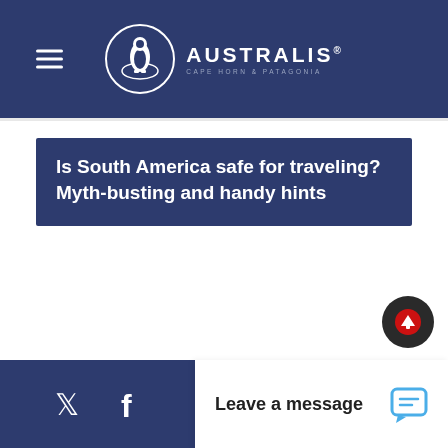AUSTRALIS CAPE HORN & PATAGONIA
Is South America safe for traveling? Myth-busting and handy hints
Leave a message